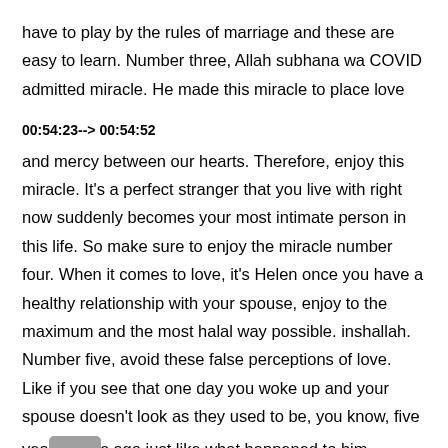have to play by the rules of marriage and these are easy to learn. Number three, Allah subhana wa COVID admitted miracle. He made this miracle to place love
00:54:23--> 00:54:52
and mercy between our hearts. Therefore, enjoy this miracle. It's a perfect stranger that you live with right now suddenly becomes your most intimate person in this life. So make sure to enjoy the miracle number four. When it comes to love, it's Helen once you have a healthy relationship with your spouse, enjoy to the maximum and the most halal way possible. inshallah. Number five, avoid these false perceptions of love. Like if you see that one day you woke up and your spouse doesn't look as they used to be, you know, five years ago just like what happened to him.